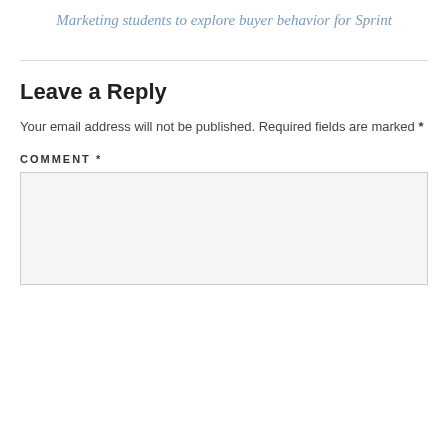Marketing students to explore buyer behavior for Sprint
Leave a Reply
Your email address will not be published. Required fields are marked *
COMMENT *